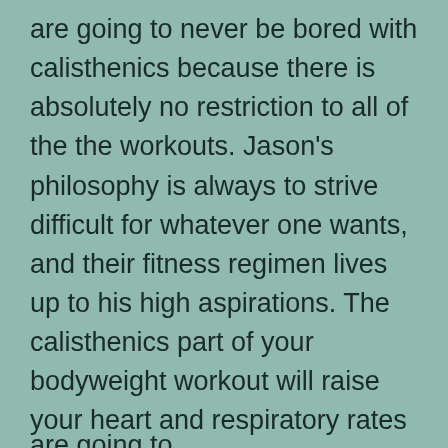are going to never be bored with calisthenics because there is absolutely no restriction to all of the the workouts. Jason's philosophy is always to strive difficult for whatever one wants, and their fitness regimen lives up to his high aspirations. The calisthenics part of your bodyweight workout will raise your heart and respiratory rates and burn up calories. Yes, you will need to be a person on a mission to workout each day for years and years.
Do Bodyweight Workout Program really work?
are going to...